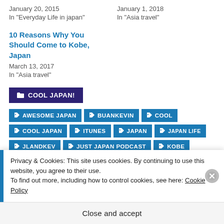January 20, 2015
In "Everyday Life in japan"
January 1, 2018
In "Asia travel"
10 Reasons Why You Should Come to Kobe, Japan
March 13, 2017
In "Asia travel"
COOL JAPAN!
AWESOME JAPAN
BUANKEVIN
COOL
COOL JAPAN
ITUNES
JAPAN
JAPAN LIFE
JLANDKEV
JUST JAPAN PODCAST
KOBE
Privacy & Cookies: This site uses cookies. By continuing to use this website, you agree to their use. To find out more, including how to control cookies, see here: Cookie Policy
Close and accept